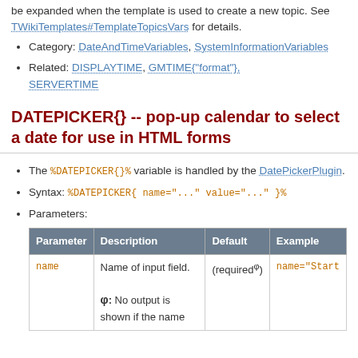be expanded when the template is used to create a new topic. See TWikiTemplates#TemplateTopicsVars for details.
Category: DateAndTimeVariables, SystemInformationVariables
Related: DISPLAYTIME, GMTIME{"format"}, SERVERTIME
DATEPICKER{} -- pop-up calendar to select a date for use in HTML forms
The %DATEPICKER{}% variable is handled by the DatePickerPlugin.
Syntax: %DATEPICKER{ name="..." value="..." }%
Parameters:
| Parameter | Description | Default | Example |
| --- | --- | --- | --- |
| name | Name of input field.
φ: No output is shown if the name | (requiredφ) | name="Start |